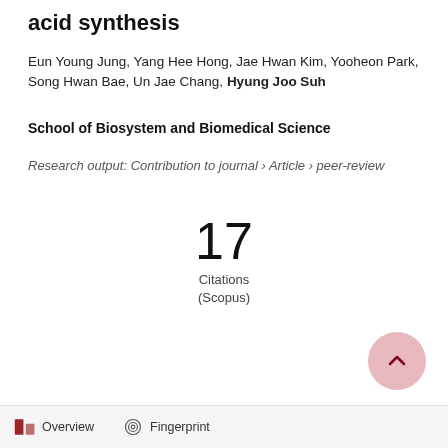acid synthesis
Eun Young Jung, Yang Hee Hong, Jae Hwan Kim, Yooheon Park, Song Hwan Bae, Un Jae Chang, Hyung Joo Suh
School of Biosystem and Biomedical Science
Research output: Contribution to journal › Article › peer-review
17
Citations
(Scopus)
Overview   Fingerprint